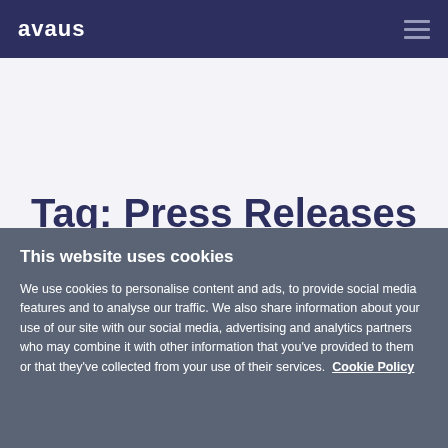avaus (logo) | hamburger menu
Tag: Press Releases
This website uses cookies
We use cookies to personalise content and ads, to provide social media features and to analyse our traffic. We also share information about your use of our site with our social media, advertising and analytics partners who may combine it with other information that you've provided to them or that they've collected from your use of their services.  Cookie Policy